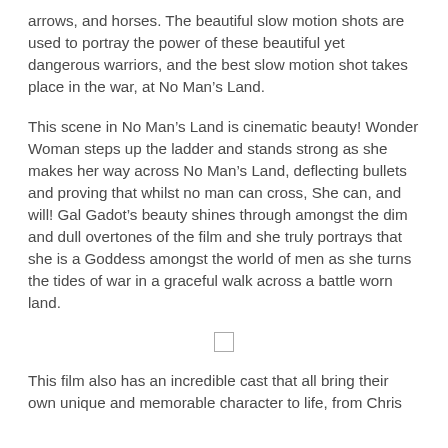arrows, and horses. The beautiful slow motion shots are used to portray the power of these beautiful yet dangerous warriors, and the best slow motion shot takes place in the war, at No Man's Land.
This scene in No Man's Land is cinematic beauty! Wonder Woman steps up the ladder and stands strong as she makes her way across No Man's Land, deflecting bullets and proving that whilst no man can cross, She can, and will! Gal Gadot's beauty shines through amongst the dim and dull overtones of the film and she truly portrays that she is a Goddess amongst the world of men as she turns the tides of war in a graceful walk across a battle worn land.
[Figure (other): Small placeholder checkbox/image box]
This film also has an incredible cast that all bring their own unique and memorable character to life, from Chris